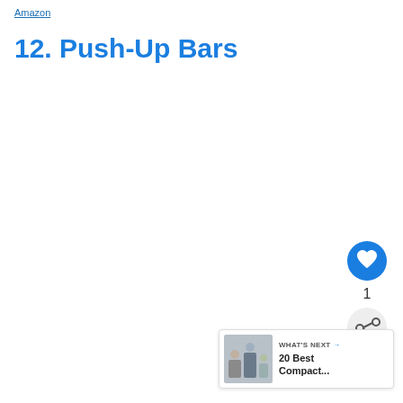Amazon
12. Push-Up Bars
[Figure (other): Heart/like button icon (blue circle with white heart)]
1
[Figure (other): Share button icon (grey circle with share symbol)]
[Figure (other): What's Next card with thumbnail image and text '20 Best Compact...']
WHAT'S NEXT → 20 Best Compact...